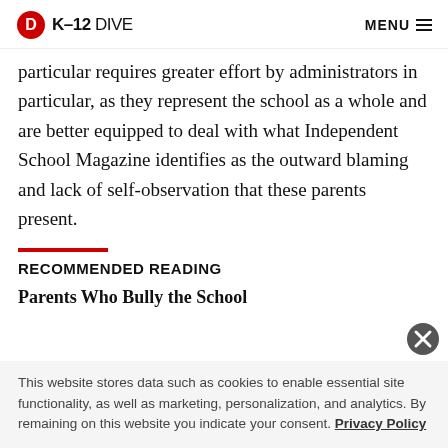K-12 DIVE | MENU
particular requires greater effort by administrators in particular, as they represent the school as a whole and are better equipped to deal with what Independent School Magazine identifies as the outward blaming and lack of self-observation that these parents present.
RECOMMENDED READING
Parents Who Bully the School
This website stores data such as cookies to enable essential site functionality, as well as marketing, personalization, and analytics. By remaining on this website you indicate your consent. Privacy Policy